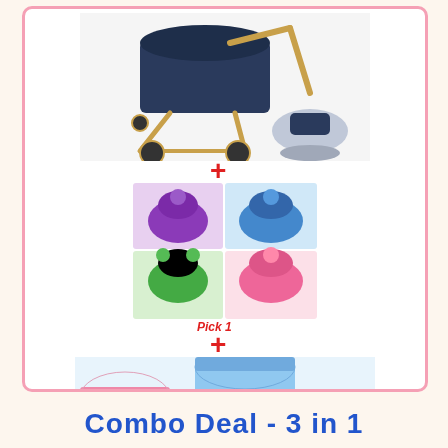[Figure (photo): Baby stroller combo deal product image showing a navy/gold pram with infant car seat]
[Figure (photo): Four colorful baby floor seats in purple, blue, green, and pink animal designs with 'Pick 1' caption]
[Figure (photo): Baby mosquito net beds in pink and blue with 'Pick 1' caption and 'SAVE R300 & Free Delivery' badge]
Combo Deal - 3 in 1